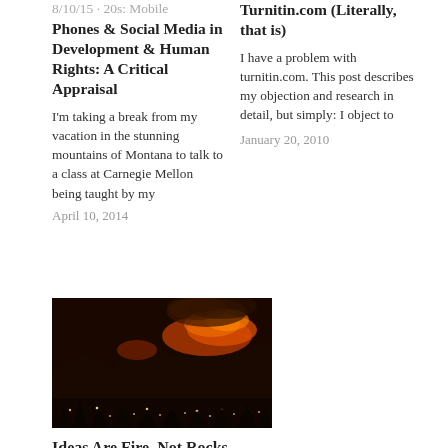Mobile Phones & Social Media in Development & Human Rights: A Critical Appraisal
I'm taking a break from my vacation in the stunning mountains of Montana to talk to a class at Carnegie Mellon being taught by my
April 10, 2014
Turnitin.com (Literally, that is)
I have a problem with turnitin.com. This post describes my objection and research in detail, but simply: I object to
January 20, 2010
[Figure (photo): Night photo of a wildfire burning on a hillside with city lights visible below and glowing red/orange fire and smoke on dark mountains]
Ideas Are Fire, Not Rocks
August 11, 2010